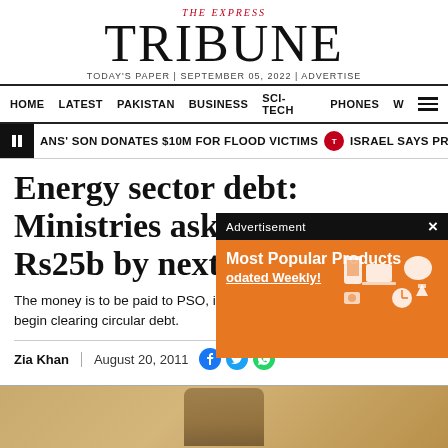THE EXPRESS TRIBUNE — TODAY'S PAPER | SEPTEMBER 05, 2022 | ADVERTISE
HOME | LATEST | PAKISTAN | BUSINESS | SCI-TECH | PHONES | W
ANS SON DONATES $10M FOR FLOOD VICTIMS   ISRAEL SAYS PRESSURING US TO
Energy sector debt: Ministries asked to pay Rs25b by next m…
The money is to be paid to PSO, inc… begin clearing circular debt.
Zia Khan | August 20, 2011
[Figure (photo): Partial photo of a person at bottom of page, warm golden background]
[Figure (infographic): Advertisement overlay: black top bar with 'Advertisement' text and X close button, orange body with 'Most Popular Products Updated Weekly!' text and shopping icons]